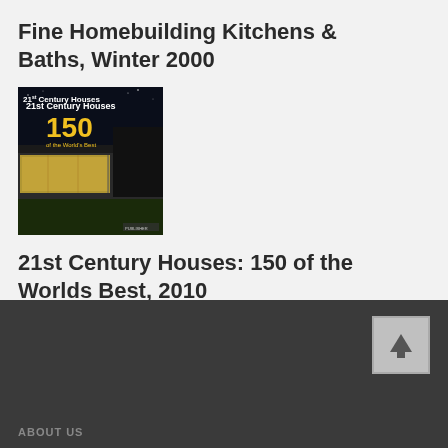Fine Homebuilding Kitchens & Baths, Winter 2000
[Figure (photo): Book cover of '21st Century Houses: 150 of the World's Best' showing a modern house at night with illuminated interiors, dark sky, and text '21st Century Houses 150 of the World's Best']
21st Century Houses: 150 of the Worlds Best, 2010
ABOUT US